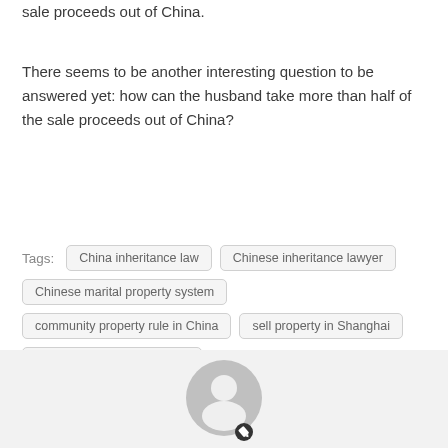sale proceeds out of China.
There seems to be another interesting question to be answered yet: how can the husband take more than half of the sale proceeds out of China?
Tags: China inheritance law  Chinese inheritance lawyer  Chinese marital property system  community property rule in China  sell property in Shanghai  transfer money out of China
[Figure (illustration): User avatar icon - circular gray silhouette of a person with a small dark edit/pencil badge at the bottom right, on a light gray background bar]